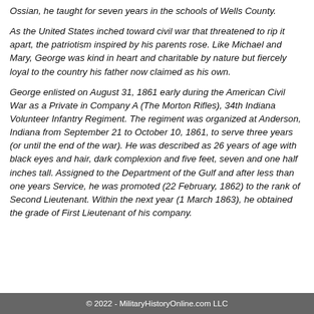Ossian, he taught for seven years in the schools of Wells County.
As the United States inched toward civil war that threatened to rip it apart, the patriotism inspired by his parents rose. Like Michael and Mary, George was kind in heart and charitable by nature but fiercely loyal to the country his father now claimed as his own.
George enlisted on August 31, 1861 early during the American Civil War as a Private in Company A (The Morton Rifles), 34th Indiana Volunteer Infantry Regiment. The regiment was organized at Anderson, Indiana from September 21 to October 10, 1861, to serve three years (or until the end of the war). He was described as 26 years of age with black eyes and hair, dark complexion and five feet, seven and one half inches tall. Assigned to the Department of the Gulf and after less than one years Service, he was promoted (22 February, 1862) to the rank of Second Lieutenant. Within the next year (1 March 1863), he obtained the grade of First Lieutenant of his company.
© 2022 - MilitaryHistoryOnline.com LLC